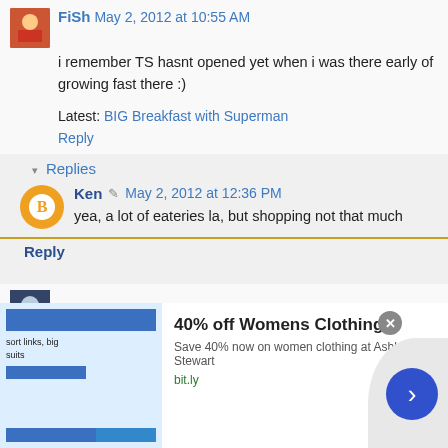FiSh May 2, 2012 at 10:55 AM
i remember TS hasnt opened yet when i was there early of growing fast there :)
Latest: BIG Breakfast with Superman
Reply
Replies
Ken May 2, 2012 at 12:36 PM
yea, a lot of eateries la, but shopping not that much
Reply
Merryn May 3, 2012 at 11:45 PM
[Figure (screenshot): Advertisement banner: 40% off Womens Clothing at Ashley Stewart, bit.ly]